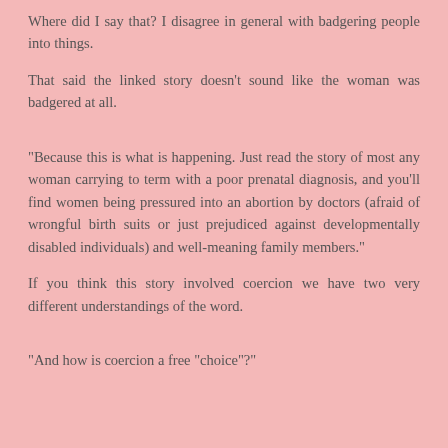Where did I say that? I disagree in general with badgering people into things.
That said the linked story doesn't sound like the woman was badgered at all.
"Because this is what is happening. Just read the story of most any woman carrying to term with a poor prenatal diagnosis, and you'll find women being pressured into an abortion by doctors (afraid of wrongful birth suits or just prejudiced against developmentally disabled individuals) and well-meaning family members."
If you think this story involved coercion we have two very different understandings of the word.
"And how is coercion a free "choice"?"